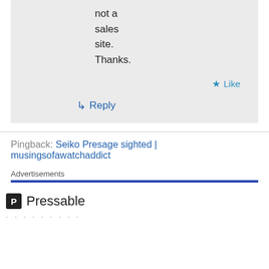not a sales site. Thanks.
★ Like
↳ Reply
Pingback: Seiko Presage sighted | musingsofawatchaddict
Advertisements
[Figure (logo): Pressable logo with P icon and Pressable text]